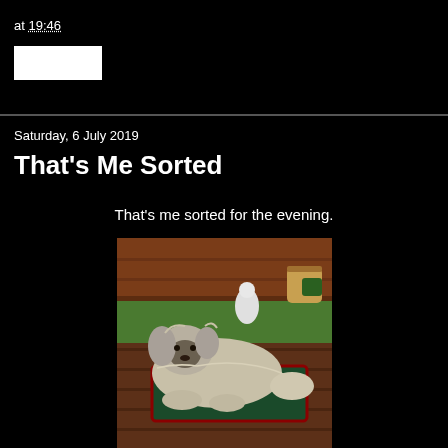at 19:46
[Figure (other): White rectangle placeholder/button]
Saturday, 6 July 2019
That's Me Sorted
That's me sorted for the evening.
[Figure (photo): A fluffy Shih Tzu dog lying on a dark green cushion on a wooden deck outdoors. Garden ornament and basket visible in background.]